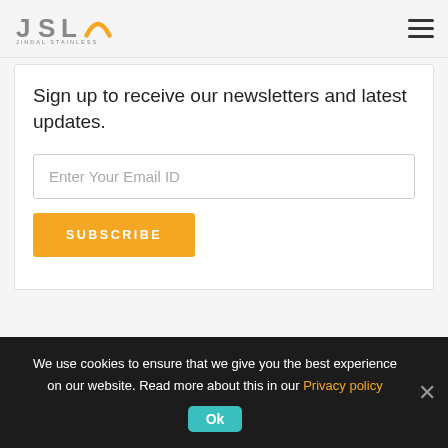Jindal Stainless logo and navigation menu
Sign up to receive our newsletters and latest updates.
Enter Your Email ID
SUBSCRIBE
We use cookies to ensure that we give you the best experience on our website. Read more about this in our Privacy policy
Ok